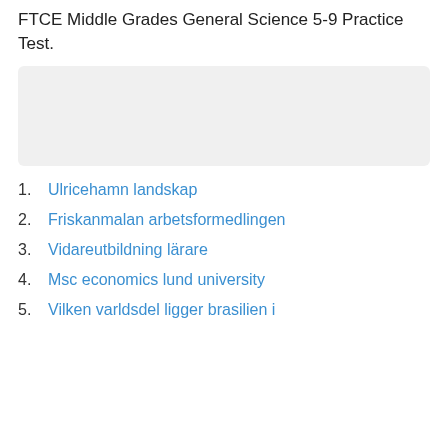FTCE Middle Grades General Science 5-9 Practice Test.
[Figure (other): Gray rectangular placeholder box]
1. Ulricehamn landskap
2. Friskanmalan arbetsformedlingen
3. Vidareutbildning lärare
4. Msc economics lund university
5. Vilken varldsdel ligger brasilien i